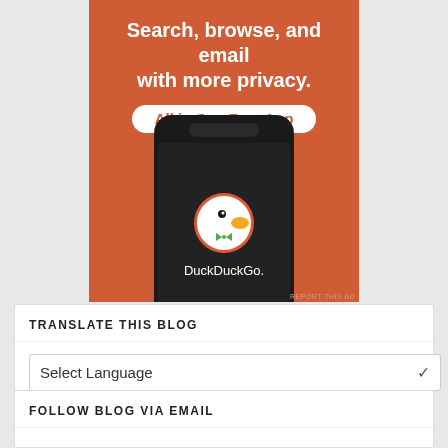[Figure (illustration): DuckDuckGo advertisement banner with orange background. Text reads 'Search, browse, and email with more privacy. All in One Free App' with a phone mockup showing the DuckDuckGo logo and name. 'REPORT THIS AD' text in small print at bottom right.]
TRANSLATE THIS BLOG
Select Language
Powered by Google Translate
FOLLOW BLOG VIA EMAIL